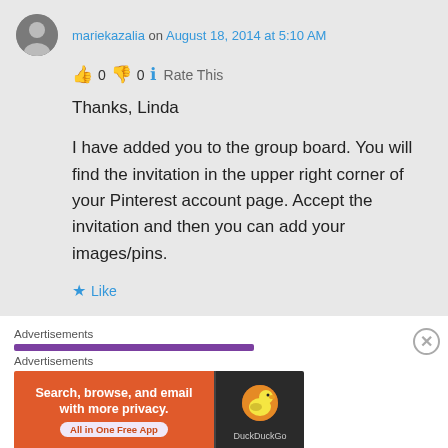mariekazalia on August 18, 2014 at 5:10 AM
👍 0 👎 0 ℹ Rate This
Thanks, Linda

I have added you to the group board. You will find the invitation in the upper right corner of your Pinterest account page. Accept the invitation and then you can add your images/pins.
★ Like
Advertisements
Advertisements
[Figure (screenshot): DuckDuckGo advertisement banner: 'Search, browse, and email with more privacy. All in One Free App' with DuckDuckGo logo on dark right panel]